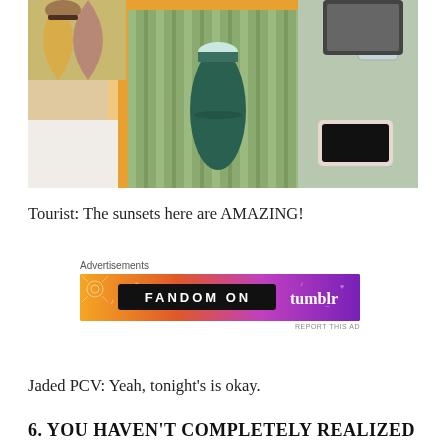[Figure (photo): Overhead/angled view of a table with an orange and green striped mat, a dark teal water bottle, a phone/tablet, a glass, and a person's feet visible in sandals]
Tourist: The sunsets here are AMAZING!
[Figure (infographic): Advertisement banner: 'FANDOM ON tumblr' on a gradient orange-to-purple background with decorative doodles]
REPORT THIS AD
Jaded PCV: Yeah, tonight's is okay.
6. YOU HAVEN'T COMPLETELY REALIZED